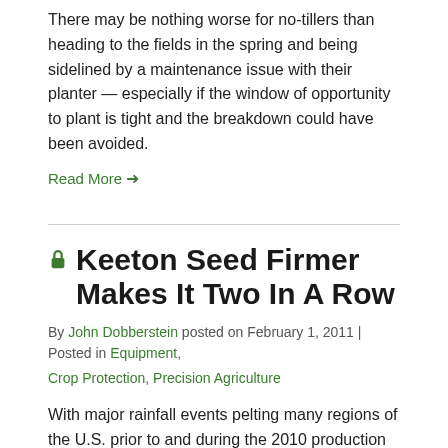There may be nothing worse for no-tillers than heading to the fields in the spring and being sidelined by a maintenance issue with their planter — especially if the window of opportunity to plant is tight and the breakdown could have been avoided.
Read More →
🔒 Keeton Seed Firmer Makes It Two In A Row
By John Dobberstein posted on February 1, 2011 | Posted in Equipment, Crop Protection, Precision Agriculture
With major rainfall events pelting many regions of the U.S. prior to and during the 2010 production season, field conditions were a big concern for no-tillers — not just in preparing fields for planting, but also no-tilling crops properly.
Read More →
🔒 Why They Strip-
[Figure (photo): Photo of a person, partially visible at bottom right of page]